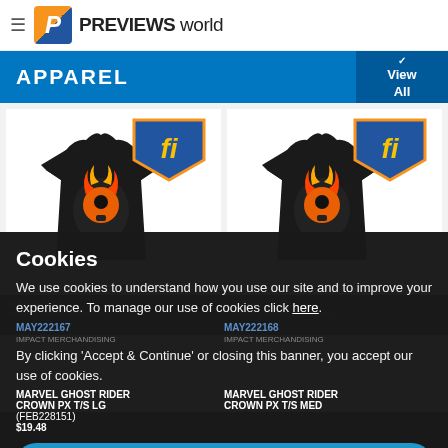PREVIEWS world
APPAREL
[Figure (photo): Two Marvel Ghost Rider Crown PX T-shirts shown on product cards, each with a Fanatics Innovations logo badge]
MAY222167
IMPACT MERCHANDISING
MARVEL GHOST RIDER CROWN PX T/S LG
(FEB228151)
$19.48
MAY222168
IMPACT MERCHANDISING
MARVEL GHOST RIDER CROWN PX T/S MED
Cookies
We use cookies to understand how you use our site and to improve your experience. To manage our use of cookies click here.
By clicking 'Accept & Continue' or closing this banner, you accept our use of cookies.
Accept & Continue